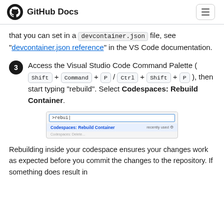GitHub Docs
that you can set in a devcontainer.json file, see "devcontainer.json reference" in the VS Code documentation.
3. Access the Visual Studio Code Command Palette ( Shift + Command + P / Ctrl + Shift + P ), then start typing "rebuild". Select Codespaces: Rebuild Container.
[Figure (screenshot): VS Code Command Palette showing '>rebui' typed in the input and 'Codespaces: Rebuild Container' highlighted as the first result with 'recently used' label on the right.]
Rebuilding inside your codespace ensures your changes work as expected before you commit the changes to the repository. If something does result in a failure, it will give you a chance to troubleshoot.